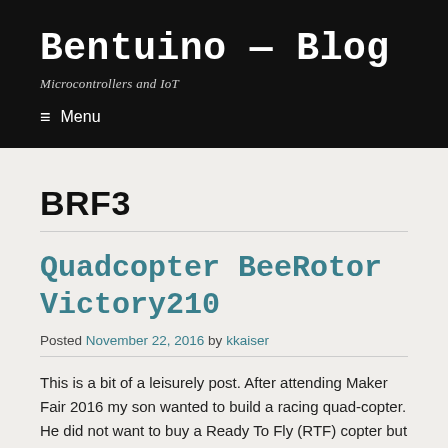Bentuino — Blog
Microcontrollers and IoT
≡ Menu
BRF3
Quadcopter BeeRotor Victory210
Posted November 22, 2016 by kkaiser
This is a bit of a leisurely post. After attending Maker Fair 2016 my son wanted to build a racing quad-copter. He did not want to buy a Ready To Fly (RTF) copter but rather a